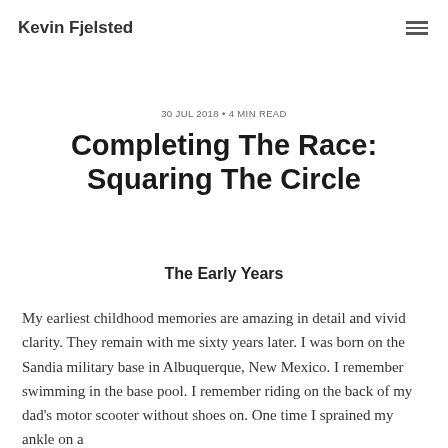Kevin Fjelsted
30 JUL 2018 • 4 MIN READ
Completing The Race: Squaring The Circle
The Early Years
My earliest childhood memories are amazing in detail and vivid clarity. They remain with me sixty years later. I was born on the Sandia military base in Albuquerque, New Mexico. I remember swimming in the base pool. I remember riding on the back of my dad's motor scooter without shoes on. One time I sprained my ankle on a